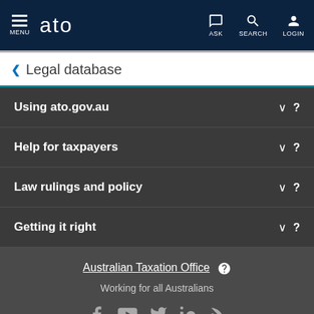MENU | ato | ASK | SEARCH | LOGIN
< Legal database
Using ato.gov.au
Help for taxpayers
Law rulings and policy
Getting it right
Australian Taxation Office — Working for all Australians